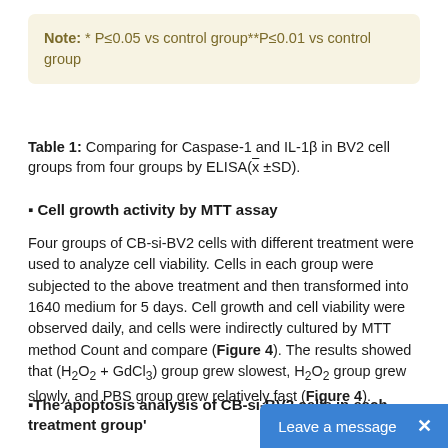Note: * P≤0.05 vs control group**P≤0.01 vs control group
Table 1: Comparing for Caspase-1 and IL-1β in BV2 cell groups from four groups by ELISA(x̄ ±SD).
▪ Cell growth activity by MTT assay
Four groups of CB-si-BV2 cells with different treatment were used to analyze cell viability. Cells in each group were subjected to the above treatment and then transformed into 1640 medium for 5 days. Cell growth and cell viability were observed daily, and cells were indirectly cultured by MTT method Count and compare (Figure 4). The results showed that (H₂O₂ + GdCl₃) group grew slowest, H₂O₂ group grew slowly, and PBS group grew relatively fast (Figure 4).
▪The apoptosis analysis of CB-si-BV2 cells in each treatment group'